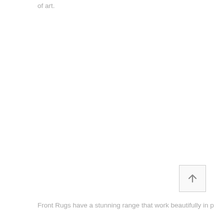of art.
[Figure (other): Scroll-to-top button with upward arrow icon inside a square border]
Front Rugs have a stunning range that work beautifully in p